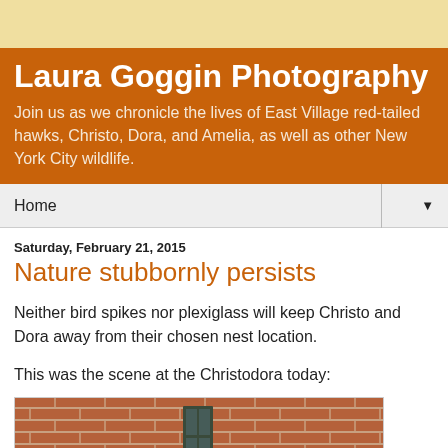Laura Goggin Photography
Join us as we chronicle the lives of East Village red-tailed hawks, Christo, Dora, and Amelia, as well as other New York City wildlife.
Home
Saturday, February 21, 2015
Nature stubbornly persists
Neither bird spikes nor plexiglass will keep Christo and Dora away from their chosen nest location.
This was the scene at the Christodora today:
[Figure (photo): Brick wall with bird nesting area, partial view of a bird or nest behind/near a window or ledge on a brick building facade.]